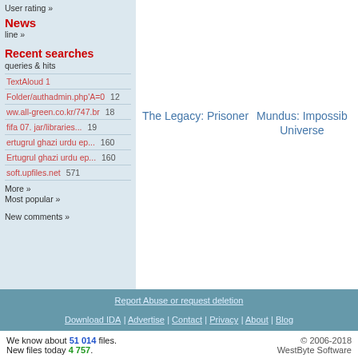User rating »
News
line »
Recent searches
queries & hits
TextAloud 1
Folder/authadmin.php'A=0 12
ww.all-green.co.kr/747.br 18
fifa 07. jar/libraries... 19
ertugrul ghazi urdu ep... 160
Ertugrul ghazi urdu ep... 160
soft.upfiles.net 571
More »
Most popular »
New comments »
The Legacy: Prisoner
Mundus: Impossible Universe
Report Abuse or request deletion
Download IDA | Advertise | Contact | Privacy | About | Blog
We know about 51 014 files. New files today 4 757.
© 2006-2018 WestByte Software